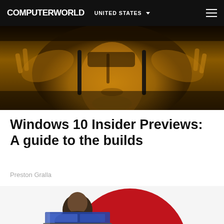COMPUTERWORLD  UNITED STATES
[Figure (photo): Close-up sepia/gold-toned photo of a man's face looking upward with hands raised on either side of his head, dramatic lighting]
Windows 10 Insider Previews: A guide to the builds
Preston Gralla
[Figure (photo): Person viewed from behind looking at a laptop monitor, with a large red circular shape in the background]